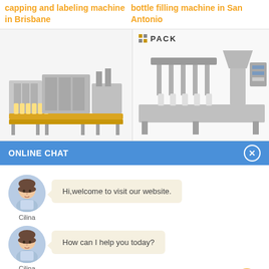capping and labeling machine in Brisbane
bottle filling machine in San Antonio
[Figure (photo): Industrial capping and labeling machine, full production line with conveyor]
[Figure (photo): Bottle filling machine with PACK logo, stainless steel industrial equipment]
ONLINE CHAT
[Figure (photo): Avatar of Cilina, female customer service representative]
Hi,welcome to visit our website.
Cilina
[Figure (photo): Avatar of Cilina, female customer service representative]
How can I help you today?
Cilina